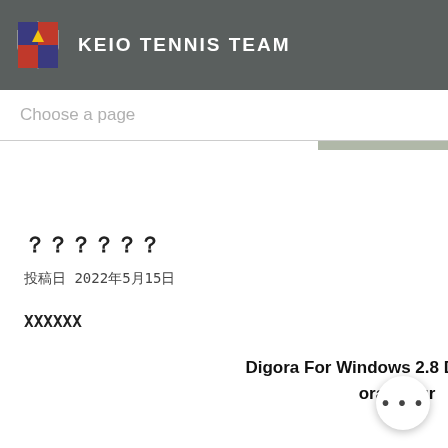KEIO TENNIS TEAM
Choose a page
？？？？？？
投稿日 2022年5月15日
XXXXXX
Digora For Windows 2.8 Download 17
orazmaur